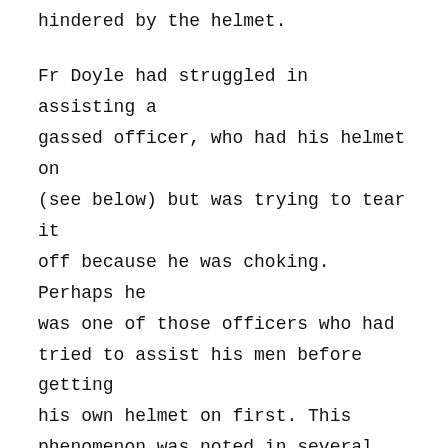hindered by the helmet.
Fr Doyle had struggled in assisting a gassed officer, who had his helmet on (see below) but was trying to tear it off because he was choking. Perhaps he was one of those officers who had tried to assist his men before getting his own helmet on first. This phenomenon was noted in several reports, along with the fact that some officers removed helmets in order to deliver orders to their men. 49th Infantry Brigade, Major Rudkin, said “It is feared the lives of Officers and